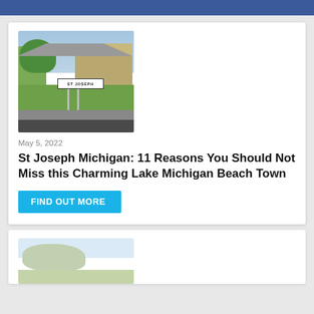[Figure (photo): Photo of St Joseph city sign with white rectangular sign reading 'ST JOSEPH' on metal poles, green grass, trees, and commercial buildings in background under blue sky]
May 5, 2022
St Joseph Michigan: 11 Reasons You Should Not Miss this Charming Lake Michigan Beach Town
FIND OUT MORE
[Figure (photo): Partial photo of a scene, partially visible at bottom of page]